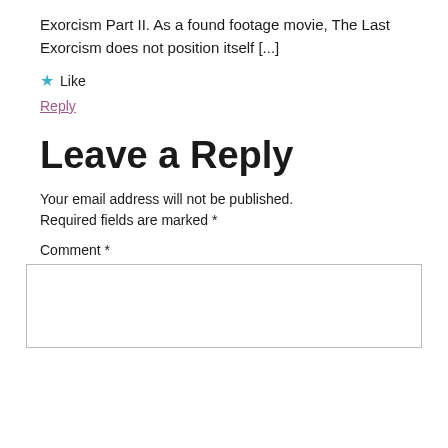Exorcism Part II. As a found footage movie, The Last Exorcism does not position itself [...]
★ Like
Reply
Leave a Reply
Your email address will not be published. Required fields are marked *
Comment *